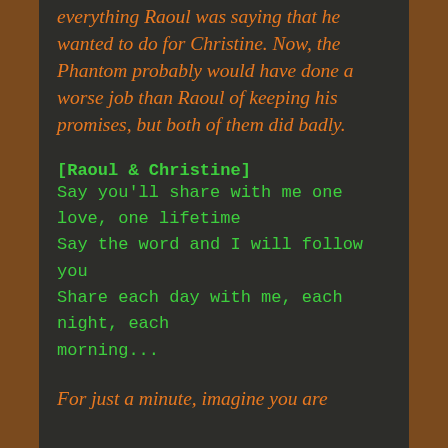everything Raoul was saying that he wanted to do for Christine. Now, the Phantom probably would have done a worse job than Raoul of keeping his promises, but both of them did badly.
[Raoul & Christine]
Say you'll share with me one love, one lifetime
Say the word and I will follow you
Share each day with me, each night, each morning...
For just a minute, imagine you are